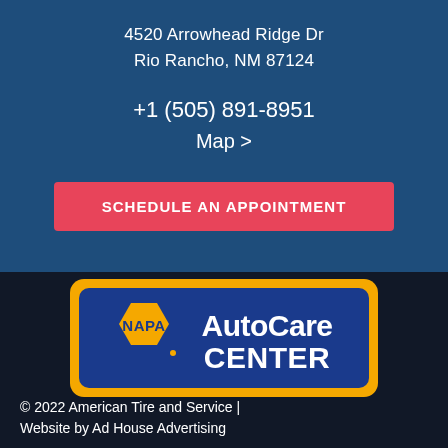4520 Arrowhead Ridge Dr
Rio Rancho, NM 87124
+1 (505) 891-8951
Map >
SCHEDULE AN APPOINTMENT
[Figure (logo): NAPA AutoCare Center logo — blue rectangular badge with yellow border, NAPA hexagon emblem on left, 'AutoCare Center' bold white text on right]
© 2022 American Tire and Service | Website by Ad House Advertising